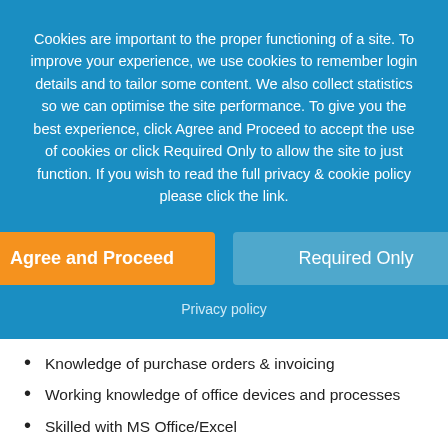Cookies are important to the proper functioning of a site. To improve your experience, we use cookies to remember login details and to tailor some content. We also collect statistics so we can optimise the site performance. To give you the best experience, click Agree and Proceed to accept the use of cookies or click Required Only to allow the site to just function. If you wish to read the full privacy & cookie policy please click the link.
[Figure (other): Two buttons: orange 'Agree and Proceed' button and blue-grey 'Required Only' button]
Privacy policy
Knowledge of purchase orders & invoicing
Working knowledge of office devices and processes
Skilled with MS Office/Excel